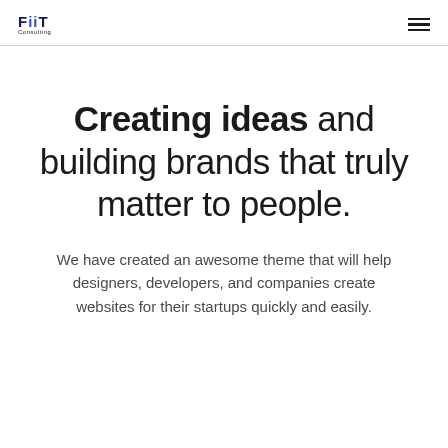FiiT Consulting
Creating ideas and building brands that truly matter to people.
We have created an awesome theme that will help designers, developers, and companies create websites for their startups quickly and easily.